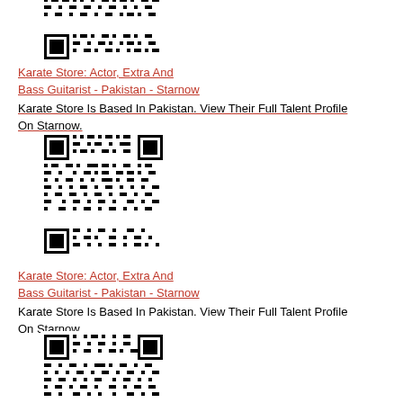[Figure (other): QR code for Karate Store Starnow profile (first instance, partially visible at top)]
Karate Store: Actor, Extra And Bass Guitarist - Pakistan - Starnow
Karate Store Is Based In Pakistan. View Their Full Talent Profile On Starnow.
[Figure (other): QR code for Karate Store Starnow profile (second instance)]
Karate Store: Actor, Extra And Bass Guitarist - Pakistan - Starnow
Karate Store Is Based In Pakistan. View Their Full Talent Profile On Starnow.
[Figure (other): QR code for Karate Store Starnow profile (third instance, partially visible at bottom)]